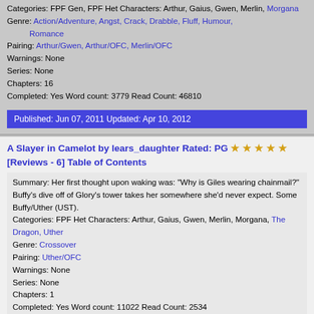Categories: FPF Gen, FPF Het Characters: Arthur, Gaius, Gwen, Merlin, Morgana
Genre: Action/Adventure, Angst, Crack, Drabble, Fluff, Humour, Romance
Pairing: Arthur/Gwen, Arthur/OFC, Merlin/OFC
Warnings: None
Series: None
Chapters: 16
Completed: Yes Word count: 3779 Read Count: 46810
Published: Jun 07, 2011 Updated: Apr 10, 2012
A Slayer in Camelot by lears_daughter Rated: PG ★★★★★ [Reviews - 6] Table of Contents
Summary: Her first thought upon waking was: "Why is Giles wearing chainmail?" Buffy's dive off of Glory's tower takes her somewhere she'd never expect. Some Buffy/Uther (UST).
Categories: FPF Het Characters: Arthur, Gaius, Gwen, Merlin, Morgana, The Dragon, Uther
Genre: Crossover
Pairing: Uther/OFC
Warnings: None
Series: None
Chapters: 1
Completed: Yes Word count: 11022 Read Count: 2534
Published: Oct 17, 2009 Updated: Oct 17, 2009
Aftermath by SlightlyTookish Rated: G/U ★★★★★ [Reviews - 7] Table of Contents